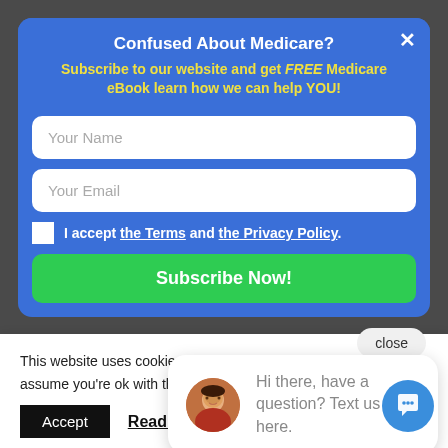Confused About Medicare?
Subscribe to our website and get FREE Medicare eBook learn how we can help YOU!
Your Name
Your Email
I accept the Terms and the Privacy Policy.
Subscribe Now!
close
Most ca... the poli...
[Figure (photo): Woman avatar for chat widget]
Hi there, have a question? Text us here.
This website uses cookies to improve your experience. We'll assume you're ok with this, but you can opt-out if yo
Accept
Read More
[Figure (illustration): Blue circular chat bubble FAB button with speech bubble icon]